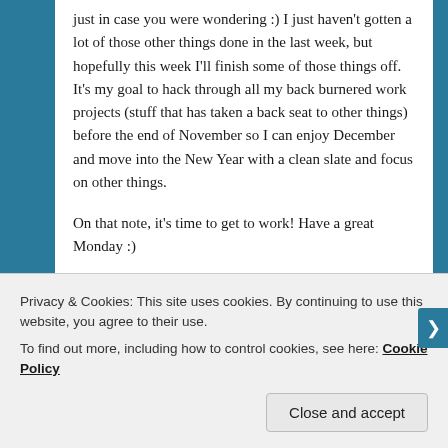just in case you were wondering :) I just haven't gotten a lot of those other things done in the last week, but hopefully this week I'll finish some of those things off. It's my goal to hack through all my back burnered work projects (stuff that has taken a back seat to other things) before the end of November so I can enjoy December and move into the New Year with a clean slate and focus on other things.
On that note, it's time to get to work! Have a great Monday :)
~Leslie
Privacy & Cookies: This site uses cookies. By continuing to use this website, you agree to their use.
To find out more, including how to control cookies, see here: Cookie Policy